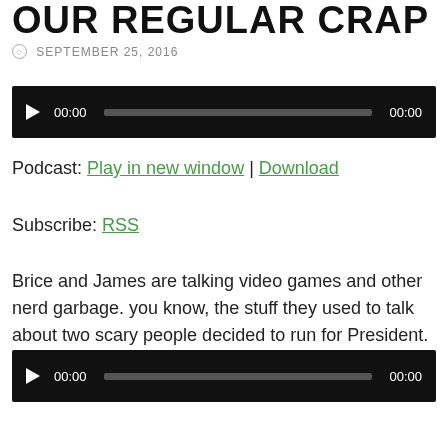OUR REGULAR CRAP
SEPTEMBER 25, 2016
[Figure (other): Audio player with play button, 00:00 time display, progress bar, and 00:00 duration]
Podcast: Play in new window | Download
Subscribe: RSS
Brice and James are talking video games and other nerd garbage. you know, the stuff they used to talk about two scary people decided to run for President.
[Figure (other): Audio player with play button, 00:00 time display, progress bar, and 00:00 duration]